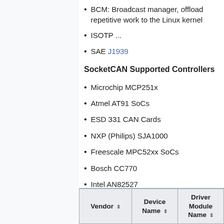BCM: Broadcast manager, offload repetitive work to the Linux kernel
ISOTP ...
SAE J1939
SocketCAN Supported Controllers
Microchip MCP251x
Atmel AT91 SoCs
ESD 331 CAN Cards
NXP (Philips) SJA1000
Freescale MPC52xx SoCs
Bosch CC770
Intel AN82527
TIs SoCs
Serial/network devices utilizing ASCII protocol (slcan driver)
| Vendor | Device Name | Driver Module Name |
| --- | --- | --- |